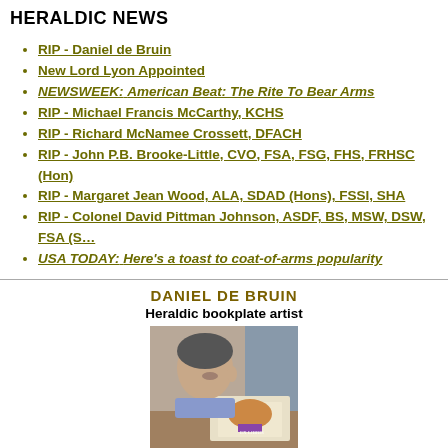HERALDIC NEWS
RIP - Daniel de Bruin
New Lord Lyon Appointed
NEWSWEEK: American Beat: The Rite To Bear Arms
RIP - Michael Francis McCarthy, KCHS
RIP - Richard McNamee Crossett, DFACH
RIP - John P.B. Brooke-Little, CVO, FSA, FSG, FHS, FRHSC (Hon)
RIP - Margaret Jean Wood, ALA, SDAD (Hons), FSSI, SHA
RIP - Colonel David Pittman Johnson, ASDF, BS, MSW, DSW, FSA (S…
USA TODAY: Here's a toast to coat-of-arms popularity
DANIEL DE BRUIN
Heraldic bookplate artist
[Figure (photo): Photo of Daniel de Bruin holding a heraldic bookplate artwork]
Requiescat in pace
Born September 23, 1950 - Died October 19, 201…